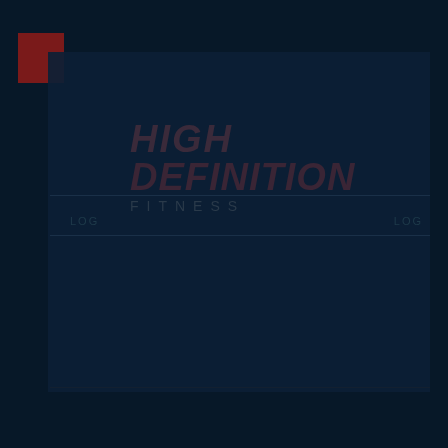[Figure (logo): High Definition Fitness logo on dark navy background with a red/maroon accent box in the upper left corner. The logo text reads 'HIGH DEFINITION' in bold italic stylized font, with 'FITNESS' in spaced caps below. The design is very dark with low contrast navy tones.]